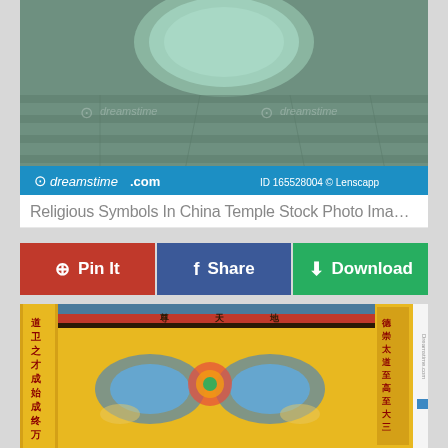[Figure (photo): Stock photo from Dreamstime showing stone steps and circular stone carving at a China temple. Blue banner at bottom reads 'dreamstime.com' with 'ID 165528004 © Lenscapp']
Religious Symbols In China Temple Stock Photo Image...
[Figure (infographic): Three social action buttons: red 'Pin It' with Pinterest icon, blue 'Share' with Facebook icon, green 'Download' with download icon]
[Figure (photo): Stock photo showing a decorative yellow embroidered textile/banner with Chinese characters and dragon motifs at a Chinese temple. Dreamstime.com watermark visible.]